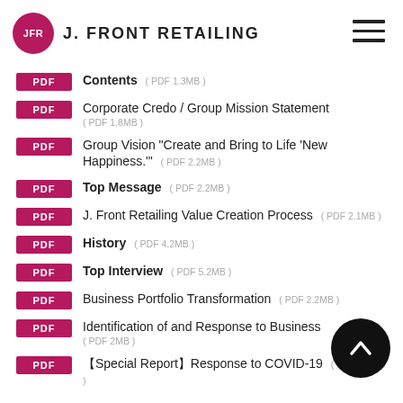J. FRONT RETAILING
Contents ( PDF 1.3MB )
Corporate Credo / Group Mission Statement ( PDF 1.8MB )
Group Vision "Create and Bring to Life 'New Happiness.'" ( PDF 2.2MB )
Top Message ( PDF 2.2MB )
J. Front Retailing Value Creation Process ( PDF 2.1MB )
History ( PDF 4.2MB )
Top Interview ( PDF 5.2MB )
Business Portfolio Transformation ( PDF 2.2MB )
Identification of and Response to Business ( PDF 2MB )
【Special Report】Response to COVID-19 ( PDF 2.8MB )